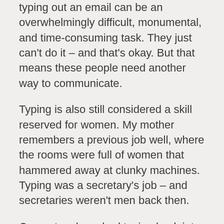typing out an email can be an overwhelmingly difficult, monumental, and time-consuming task. They just can't do it – and that's okay. But that means these people need another way to communicate.
Typing is also still considered a skill reserved for women. My mother remembers a previous job well, where the rooms were full of women that hammered away at clunky machines. Typing was a secretary's job – and secretaries weren't men back then.
Computers launched typing back into the limelight. But we're only just adapting to the common household containing computers. Seriously. How many people had PCs at home back in the 80s? (Not too damned many, in case you're wondering.)
Schools aren't teaching typing as a required life skill. (I have no idea why; this makes no sense to me.)